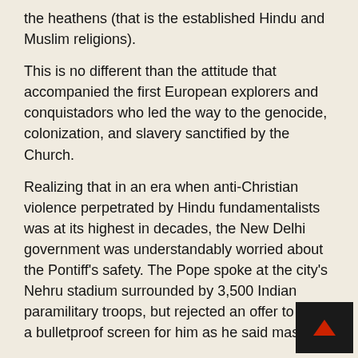the heathens (that is the established Hindu and Muslim religions).
This is no different than the attitude that accompanied the first European explorers and conquistadors who led the way to the genocide, colonization, and slavery sanctified by the Church.
Realizing that in an era when anti-Christian violence perpetrated by Hindu fundamentalists was at its highest in decades, the New Delhi government was understandably worried about the Pontiff's safety. The Pope spoke at the city's Nehru stadium surrounded by 3,500 Indian paramilitary troops, but rejected an offer to erect a bulletproof screen for him as he said mass.
In the Pope's 21-year reign, he only once accepted such a measure; where? You guessed it—at a 1987 mass in Detroit. What was he worried about as he spoke in Hamtramck? Street gangs; getting pied?
Several companies broker subscriptions to this